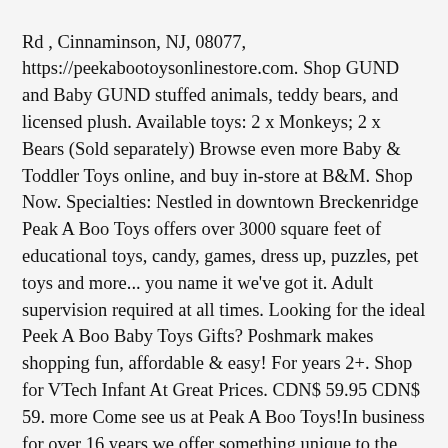Rd , Cinnaminson, NJ, 08077, https://peekabootoysonlinestore.com. Shop GUND and Baby GUND stuffed animals, teddy bears, and licensed plush. Available toys: 2 x Monkeys; 2 x Bears (Sold separately) Browse even more Baby & Toddler Toys online, and buy in-store at B&M. Shop Now. Specialties: Nestled in downtown Breckenridge Peak A Boo Toys offers over 3000 square feet of educational toys, candy, games, dress up, puzzles, pet toys and more... you name it we've got it. Adult supervision required at all times. Looking for the ideal Peek A Boo Baby Toys Gifts? Poshmark makes shopping fun, affordable & easy! For years 2+. Shop for VTech Infant At Great Prices. CDN$ 59.95 CDN$ 59. more Come see us at Peak A Boo Toys! In business for over 16 years we offer something unique to the usual mix of retail on Main Street. Bunny Peek-a-Boo and thousands more of the very best toys at Fat Brain Toys. Peek A Boo Elephant. In business for over 17 years we have become a... $20.01. 5.5" Share Share on Facebook Tweet Tweet on Twitter Pin it ... Leading